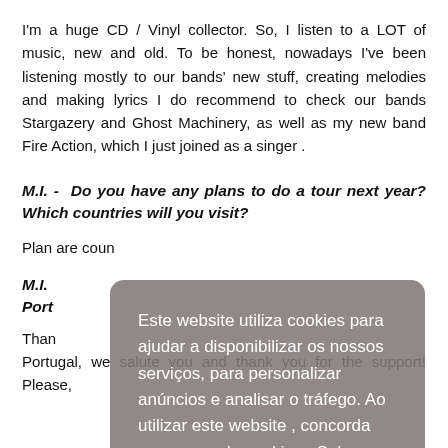I'm a huge CD / Vinyl collector. So, I listen to a LOT of music, new and old. To be honest, nowadays I've been listening mostly to our bands' new stuff, creating melodies and making lyrics I do recommend to check our bands Stargazery and Ghost Machinery, as well as my new band Fire Action, which I just joined as a singer .
M.I. -  Do you have any plans to do a tour next year? Which countries will you visit?
Plan[s are being made...] are [in] countries [...]
M.I. [...] Port[ugal...]
Than[k you...] Portugal, we salute you and thank you for the support! Please,
Este website utiliza cookies para ajudar a disponibilizar os nossos serviços, para personalizar anúncios e analisar o tráfego. Ao utilizar este website , concorda com o uso de cookies. Saber mais
Concordo